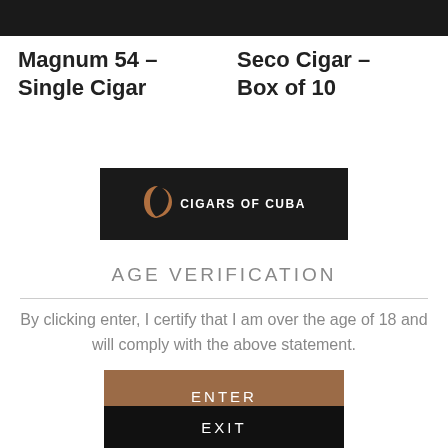Magnum 54 – Single Cigar
Seco Cigar – Box of 10
[Figure (logo): Cigars of Cuba logo — black rectangle with crescent moon icon and text 'CIGARS OF CUBA']
AGE VERIFICATION
By clicking enter, I certify that I am over the age of 18 and will comply with the above statement.
Enter
OR
Exit